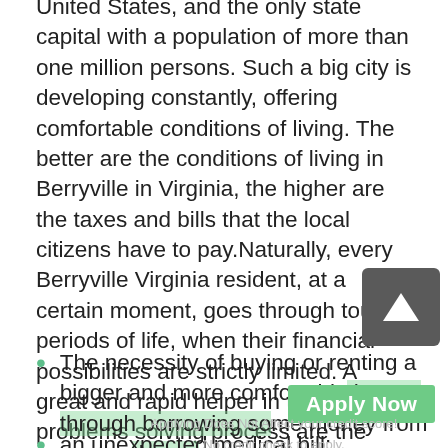United States, and the only state capital with a population of more than one million persons. Such a big city is developing constantly, offering comfortable conditions of living. The better are the conditions of living in Berryville in Virginia, the higher are the taxes and bills that the local citizens have to pay.Naturally, every Berryville Virginia resident, at a certain moment, goes through tough periods of life, when their financial possibilities are strictly limited. A great and rapid helper in these problems solving process are the payday loans. It is an excellent way of achieving the required money support, in case of the appearance of unexpected expenses, like:
The necessity of buying or renting a bigger and more comfortable house, through borrowing some money from payday loans;
an unexpected medical bill;
The need of buying a new car, to move around Berryville